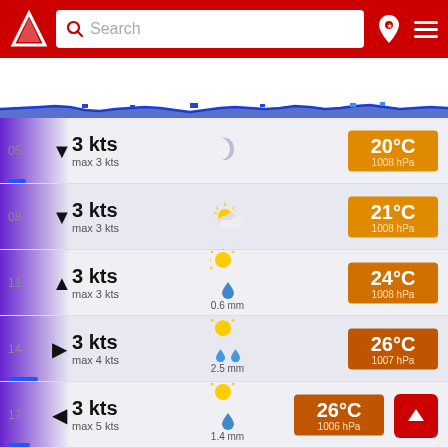[Figure (screenshot): Weather app header with red background, logo arrow, search box, pin icon and hamburger menu]
[Figure (infographic): Date navigation bar showing dates 6 through 15, with 11 highlighted in red on gray background]
[Figure (infographic): Tide/wave chart strip showing blue wave pattern across dates]
| Time | Wind | Max Wind | Weather | Temp | Pressure |
| --- | --- | --- | --- | --- | --- |
| 05 | 3 kts | max 3 kts | moon (partly cloudy) | 20°C | 1008 hPa |
| 08 | 3 kts | max 3 kts | partly cloudy | 21°C | 1008 hPa |
| 11 | 3 kts | max 3 kts | sunny with rain 0.6 mm | 24°C | 1008 hPa |
| 14 | 3 kts | max 4 kts | sunny with rain 2.5 mm | 26°C | 1007 hPa |
| 17 | 3 kts | max 5 kts | sunny with rain 1.4 mm | 26°C | 1006 hPa |